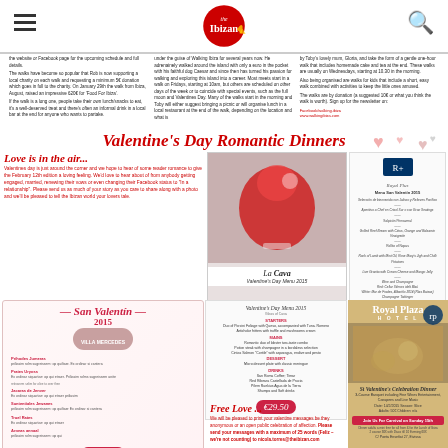The Ibizan
the website or Facebook page for the upcoming schedule and full details. The walks have become so popular that Rob is now supporting a local charity on each walk and requesting a minimum 5€ donation which goes in full to the charity. On January 29th the walk from Ibiza, August, raised an impressive 620€ for 'Food For Ibiza'. If the walk is a long one, people take their own lunch/snacks to eat, it's a well-deserved treat and there's often an informal drink in a local bar at the end for anyone who wants to partake.
under the guise of Walking Ibiza for several years now. He adrenainely walked around the island with only a euro in the pocket with his faithful dog Caesar and since then has turned his passion for walking and exploring this island into a career. Most meets start in a walk on Fridays, starting at 10am, but others are scheduled on other days of the week or to coincide with special events, such as the full moon and Valentines Day. Many of the walks start in the morning and Toby will either suggest bringing a picnic or will organise lunch in a local restaurant at the end of the walk, depending on the location and what is
by Toby's lovely mum, Gloria, and take the form of a gentle one-hour walk that includes homemade cake and tea at the end. These walks are usually on Wednesdays, starting at 10.30 in the morning. Also being organised are walks for kids that include a short, easy walk combined with activities to keep the little ones amused. The walks are by donation (a suggested 10€ or what you think the walk is worth). Sign up for the newsletter on: Facebook/walking.ibiza www.walkingibiza.com
Valentine's Day Romantic Dinners
Love is in the air...
Valentines day is just around the corner and we hope to hear of some reader romance to give the February 12th edition a loving feeling. We'd love to hear about of from anybody getting engaged, married, renewing their vows or even changing their Facebook status to "In a relationship". Please send us as much of your story as you care to share along with a photo and we'll be pleased to tell the Ibizan world your lovers tale.
[Figure (photo): La Cava restaurant Valentine's Day Menu 2015 promotional image with cocktail/drink photo]
[Figure (photo): Royal Plus Menu San Valentin 2015 menu card]
[Figure (photo): San Valentin 2015 Villa Mercedes romantic dinner promotional flyer with floral decoration]
[Figure (photo): La Cava Valentine's Day Menu 2015 card with price €29.50]
[Figure (photo): Royal Plaza Hotel Valentine's Celebration Dinner advertisement]
Free Love ...
We will be pleased to print your valentine messages be they anonymous or an open public celebration of affection. Please send your messages with a maximum of 25 words (Feliz – we're not counting) to nicola.torres@theibizan.com